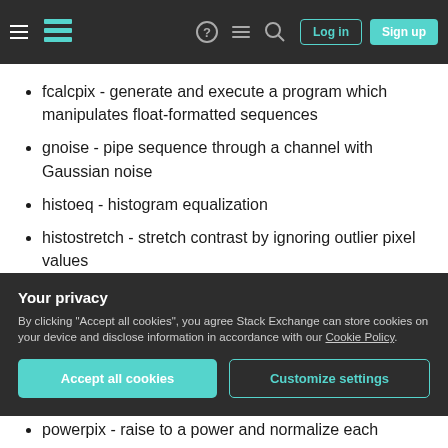Stack Exchange navigation bar with hamburger menu, logo, help, chat, search icons, Log in and Sign up buttons
fcalcpix - generate and execute a program which manipulates float-formatted sequences
gnoise - pipe sequence through a channel with Gaussian noise
histoeq - histogram equalization
histostretch - stretch contrast by ignoring outlier pixel values
logimg - take the natural logarithm of an image
mean0 - subtract the mean from an image so
Your privacy
By clicking "Accept all cookies", you agree Stack Exchange can store cookies on your device and disclose information in accordance with our Cookie Policy.
powerpix - raise to a power and normalize each